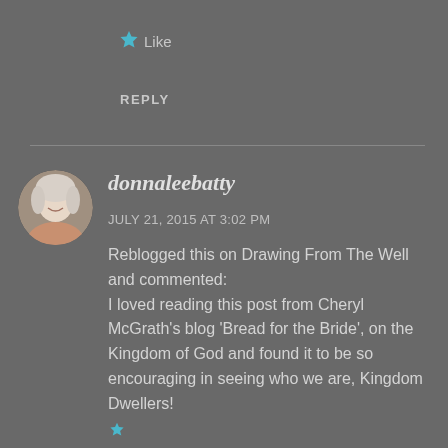★ Like
REPLY
[Figure (photo): Circular avatar photo of a smiling older woman with white/gray hair]
donnaleebatty
JULY 21, 2015 AT 3:02 PM
Reblogged this on Drawing From The Well and commented:
I loved reading this post from Cheryl McGrath's blog 'Bread for the Bride', on the Kingdom of God and found it to be so encouraging in seeing who we are, Kingdom Dwellers!